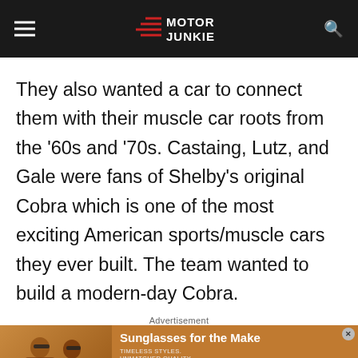Motor Junkie
They also wanted a car to connect them with their muscle car roots from the ’60s and ’70s. Castaing, Lutz, and Gale were fans of Shelby’s original Cobra which is one of the most exciting American sports/muscle cars they ever built. The team wanted to build a modern-day Cobra.
Advertisement
[Figure (photo): Advertisement banner showing two women wearing sunglasses with text 'Sunglasses for the Make', 'TIMELESS STYLES. UNMATCHED QUALITY', and a 'SHOP NOW' button.]